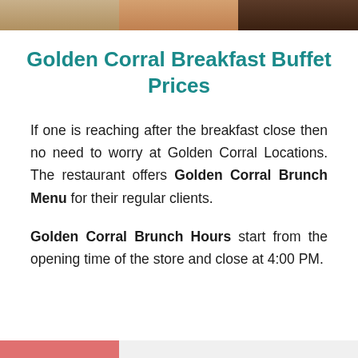[Figure (photo): Top strip showing three food photos side by side]
Golden Corral Breakfast Buffet Prices
If one is reaching after the breakfast close then no need to worry at Golden Corral Locations. The restaurant offers Golden Corral Brunch Menu for their regular clients.
Golden Corral Brunch Hours start from the opening time of the store and close at 4:00 PM.
[Figure (photo): Bottom strip showing partial food photos]